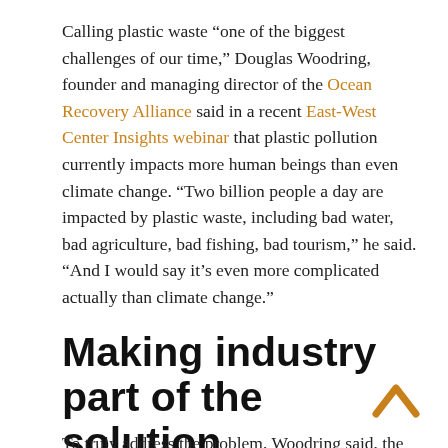Calling plastic waste “one of the biggest challenges of our time,” Douglas Woodring, founder and managing director of the Ocean Recovery Alliance said in a recent East-West Center Insights webinar that plastic pollution currently impacts more human beings than even climate change. “Two billion people a day are impacted by plastic waste, including bad water, bad agriculture, bad fishing, bad tourism,” he said. “And I would say it’s even more complicated actually than climate change.”
Making industry part of the solution
To truly address the problem, Woodring said, the